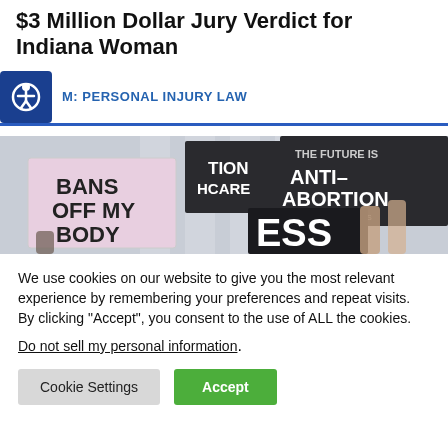$3 Million Dollar Jury Verdict for Indiana Woman
PERSONAL INJURY LAW
[Figure (photo): Protest scene with people holding signs including 'BANS OFF MY BODY', 'THE FUTURE IS ANTI-ABORTION', and partially visible signs at what appears to be a courthouse or government building.]
We use cookies on our website to give you the most relevant experience by remembering your preferences and repeat visits. By clicking “Accept”, you consent to the use of ALL the cookies.
Do not sell my personal information.
Cookie Settings
Accept